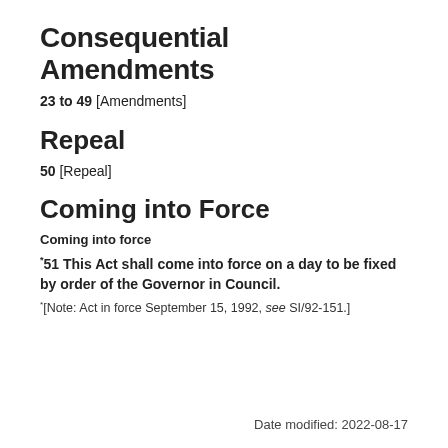Consequential Amendments
23 to 49 [Amendments]
Repeal
50 [Repeal]
Coming into Force
Coming into force
*51 This Act shall come into force on a day to be fixed by order of the Governor in Council.
*[Note: Act in force September 15, 1992, see SI/92-151.]
Date modified: 2022-08-17